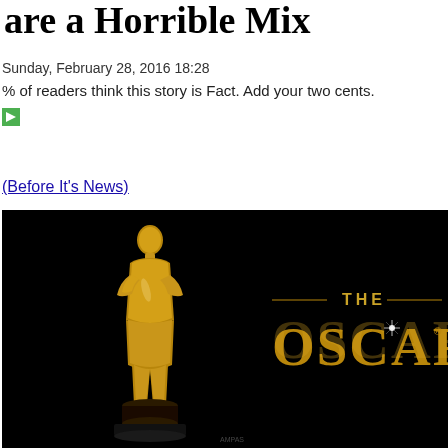are a Horrible Mix
Sunday, February 28, 2016 18:28
% of readers think this story is Fact. Add your two cents.
[Figure (logo): Flash Like button - blue button with FLASH LIKE text]
(Before It's News)
[Figure (photo): The Oscars promotional image showing golden Oscar statue on left and 'THE OSCARS' text logo in gold on black background]